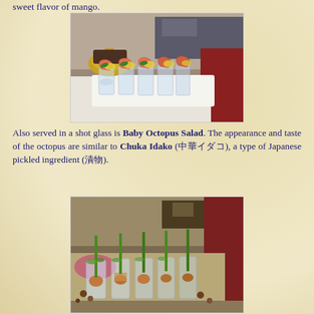sweet flavor of mango.
[Figure (photo): Photo of shrimp cocktails served in tall glasses with lemon slices and herbs on a white rectangular platter, with a golden serving dish visible in the background at what appears to be a buffet or banquet setting.]
Also served in a shot glass is Baby Octopus Salad. The appearance and taste of the octopus are similar to Chuka Idako (中華イダコ), a type of Japanese pickled ingredient (漬物).
[Figure (photo): Photo of baby octopus salad served in shot glasses with green onion garnish and sprouts, arranged on a table at what appears to be a buffet or banquet setting.]